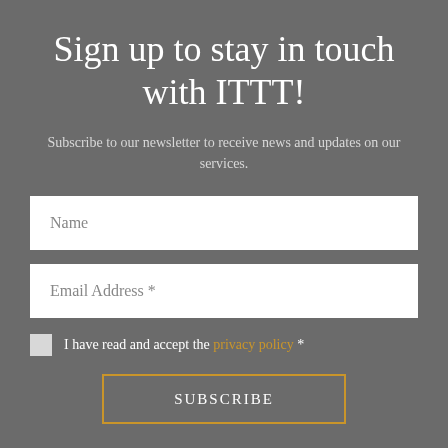Sign up to stay in touch with ITTT!
Subscribe to our newsletter to receive news and updates on our services.
Name
Email Address *
I have read and accept the privacy policy *
SUBSCRIBE